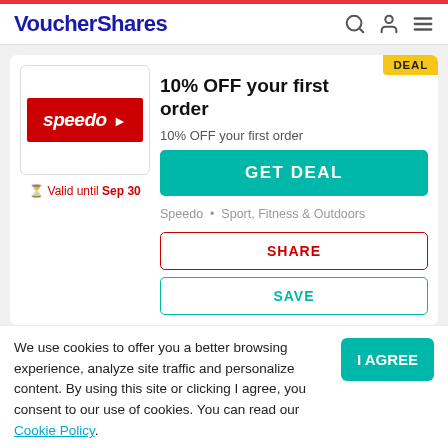VoucherShares
10% OFF your first order
10% OFF your first order
Valid until Sep 30
GET DEAL
Speedo • Sport, Fitness & Outdoors
SHARE
SAVE
We use cookies to offer you a better browsing experience, analyze site traffic and personalize content. By using this site or clicking I agree, you consent to our use of cookies. You can read our Cookie Policy.
I AGREE